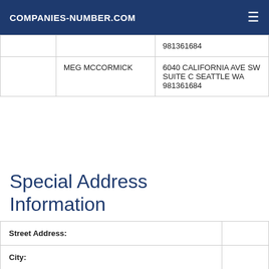COMPANIES-NUMBER.COM
|  |  | 981361684 |
|  | MEG MCCORMICK | 6040 CALIFORNIA AVE SW SUITE C SEATTLE WA 981361684 |
Special Address Information
| Street Address: |  |
| City: |  |